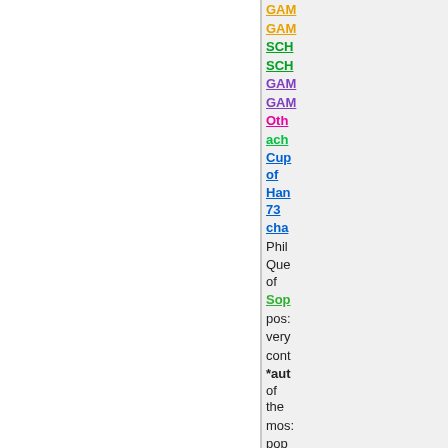GAM (orange link)
GAM (orange link)
SCHA (green link)
SCHA (green link)
GAM (purple link)
GAM (purple link)
Oth (pink bold link)
ach (green link)
Cup of Han 73 (blue link, center)
chan
Phil
Que of
Sop (green link)
post very cont
*aut of the most pop
WA reso even
Whe (blue link)